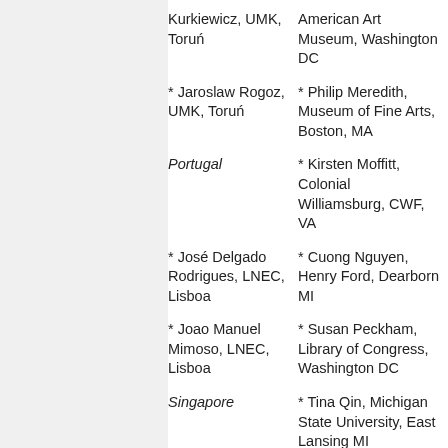Kurkiewicz, UMK, Toruń
American Art Museum, Washington DC
* Jaroslaw Rogoz, UMK, Toruń
* Philip Meredith, Museum of Fine Arts, Boston, MA
* Kirsten Moffitt, Colonial Williamsburg, CWF, VA
Portugal
* José Delgado Rodrigues, LNEC, Lisboa
* Cuong Nguyen, Henry Ford, Dearborn MI
* Joao Manuel Mimoso, LNEC, Lisboa
* Susan Peckham, Library of Congress, Washington DC
Singapore
* Tina Qin, Michigan State University, East Lansing MI